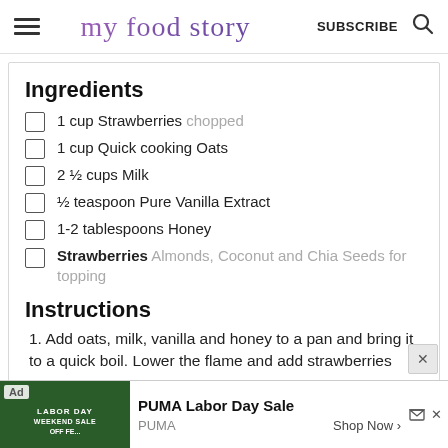my food story  SUBSCRIBE
Ingredients
1 cup Strawberries chopped
1 cup Quick cooking Oats
2 ½ cups Milk
½ teaspoon Pure Vanilla Extract
1-2 tablespoons Honey
Strawberries Almonds, Coconut and Chia Seeds for topping
Instructions
1. Add oats, milk, vanilla and honey to a pan and bring it to a quick boil. Lower the flame and add strawberries